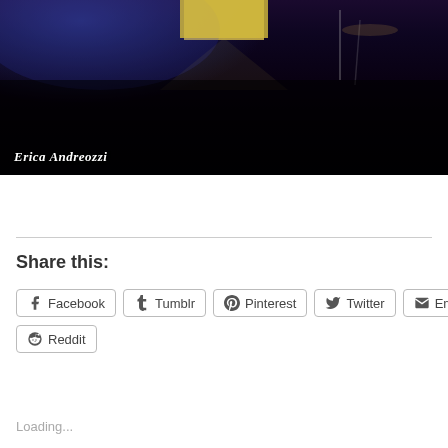[Figure (photo): Dark concert/stage photo with blue and purple lighting. A stage light glows yellow-white at the top center. The scene is mostly dark. Watermark text reads 'Erica Andreozzi' in italic white text at the bottom left.]
Share this:
Facebook  Tumblr  Pinterest  Twitter  Email  Reddit
Loading...